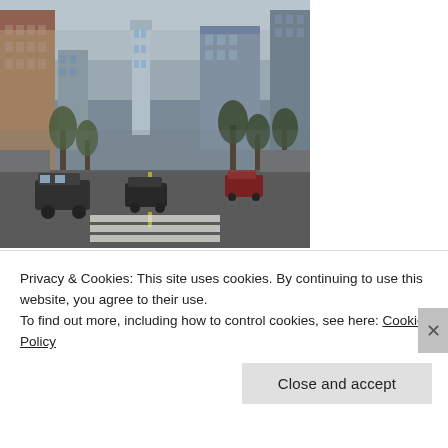[Figure (photo): Street view of a city boulevard with tall buildings on both sides, cars on the road, trees lining the street, and an overcast sky. Appears to be an urban downtown area.]
[Figure (photo): Close-up of a colorful mural depicting a face with blue tones, showing eyes and an eyebrow rendered in an artistic style.]
Privacy & Cookies: This site uses cookies. By continuing to use this website, you agree to their use.
To find out more, including how to control cookies, see here: Cookie Policy
Close and accept